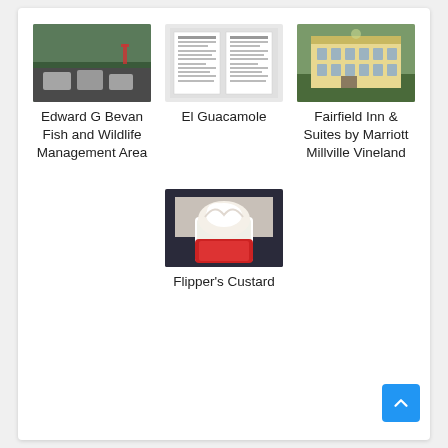[Figure (photo): Parking lot at Edward G Bevan Fish and Wildlife Management Area]
Edward G Bevan Fish and Wildlife Management Area
[Figure (screenshot): Document or form screenshot for El Guacamole]
El Guacamole
[Figure (photo): Fairfield Inn & Suites by Marriott Millville Vineland hotel exterior]
Fairfield Inn & Suites by Marriott Millville Vineland
[Figure (photo): Custard dessert in a cup with whipped cream at Flipper's Custard]
Flipper's Custard